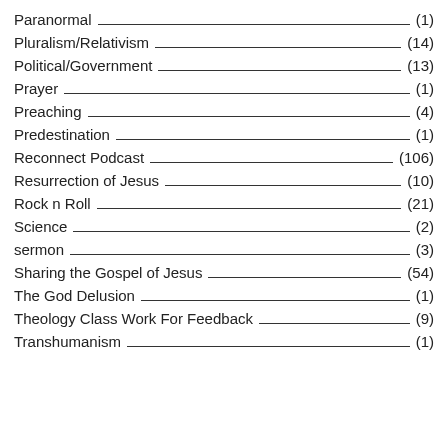Paranormal (1)
Pluralism/Relativism (14)
Political/Government (13)
Prayer (1)
Preaching (4)
Predestination (1)
Reconnect Podcast (106)
Resurrection of Jesus (10)
Rock n Roll (21)
Science (2)
sermon (3)
Sharing the Gospel of Jesus (54)
The God Delusion (1)
Theology Class Work For Feedback (9)
Transhumanism (1)